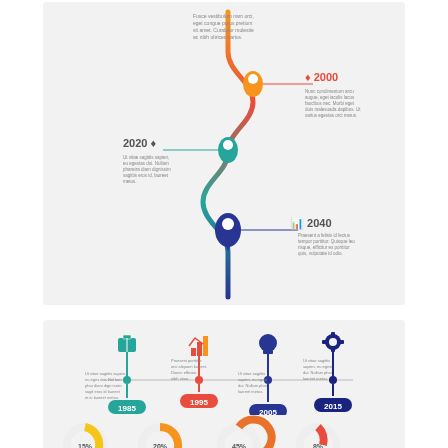[Figure (infographic): Vertical winding timeline infographic with location pin markers in orange, red, teal, and dark blue. Years 2000, 2020, 2040 are labeled. Small Lorem Ipsum text blocks appear beside each milestone. A winding colorful path connects the pins from top to bottom.]
[Figure (infographic): Horizontal timeline infographic with four icon markers (briefcase-teal, bar chart-red, lightbulb-blue, gear-dark blue). Years 1985, 1995, 2005, 2015 are labeled in colored rounded rectangles. Short Lorem Ipsum text blocks appear below each marker.]
[Figure (infographic): Bottom partial infographic showing four donut/pie chart segments in yellow, orange, orange-red, and red colors with percentage labels (15%, 20%, 45%, 8% approximately), and small text below each. The bottom of the image is cut off.]